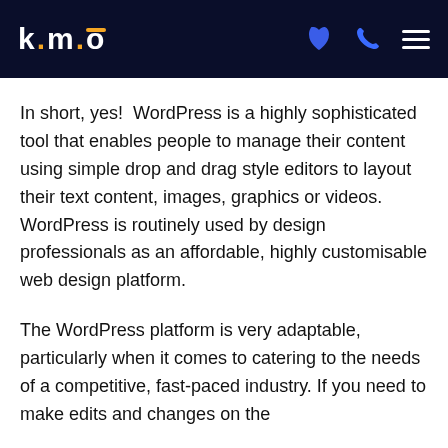k.m.o
In short, yes!  WordPress is a highly sophisticated tool that enables people to manage their content using simple drop and drag style editors to layout their text content, images, graphics or videos. WordPress is routinely used by design professionals as an affordable, highly customisable web design platform.
The WordPress platform is very adaptable, particularly when it comes to catering to the needs of a competitive, fast-paced industry. If you need to make edits and changes on the